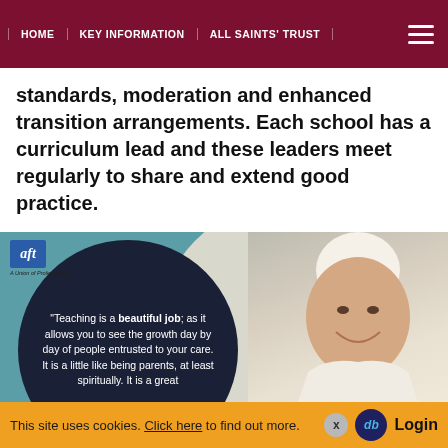HOME | KEY INFORMATION | ALL SAINTS' TRUST
standards, moderation and enhanced transition arrangements. Each school has a curriculum lead and these leaders meet regularly to share and extend good practice.
[Figure (photo): AFT (A Union of Professionals) logo in top left corner over a teal background. A dark navy circular graphic contains a quote in white text: "Teaching is a beautiful job; as it allows you to see the growth day by day of people entrusted to your care. It is a little like being parents, at least spiritually. It is a great" On the right side is a photo of Pope Francis smiling, wearing white vestments.]
This site uses cookies. Click here to find out more.